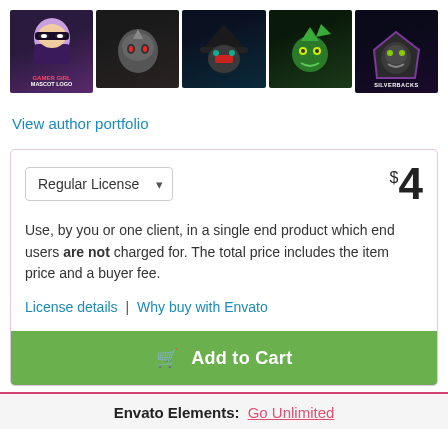[Figure (illustration): Row of 5 gaming mascot logo thumbnails: gamer girl, rhino, ninja/hat, green dragon, gorilla silverbacks]
View author portfolio
Regular License    $4
Use, by you or one client, in a single end product which end users are not charged for. The total price includes the item price and a buyer fee.
License details | Why buy with Envato
Add to Cart
Envato Elements: Go Unlimited